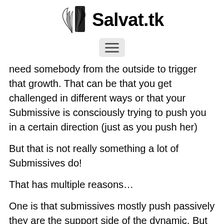Salvat.tk
[Figure (other): Hamburger menu button icon]
need somebody from the outside to trigger that growth. That can be that you get challenged in different ways or that your Submissive is consciously trying to push you in a certain direction (just as you push her)
But that is not really something a lot of Submissives do!
That has multiple reasons…
One is that submissives mostly push passively they are the support side of the dynamic. But growth requires first to set goals, so you need to set these goals for yourself so the submissive then can support you in reaching them